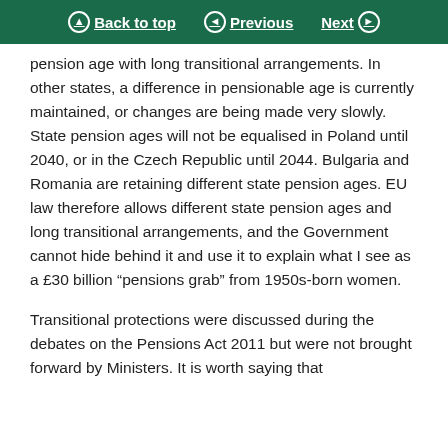Back to top | Previous | Next
pension age with long transitional arrangements. In other states, a difference in pensionable age is currently maintained, or changes are being made very slowly. State pension ages will not be equalised in Poland until 2040, or in the Czech Republic until 2044. Bulgaria and Romania are retaining different state pension ages. EU law therefore allows different state pension ages and long transitional arrangements, and the Government cannot hide behind it and use it to explain what I see as a £30 billion “pensions grab” from 1950s-born women.
Transitional protections were discussed during the debates on the Pensions Act 2011 but were not brought forward by Ministers. It is worth saying that